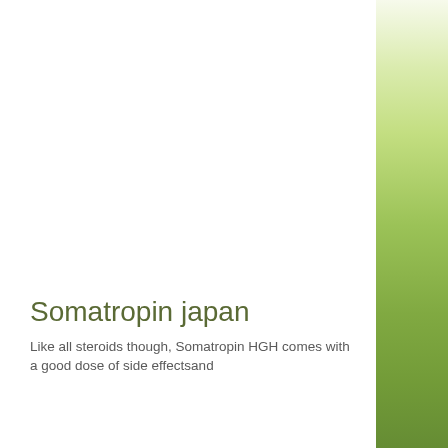[Figure (photo): Green gradient blurred background image on the right side of the page, transitioning from light yellow-green at top to dark green at bottom]
Somatropin japan
Like all steroids though, Somatropin HGH comes with a good dose of side effectsand